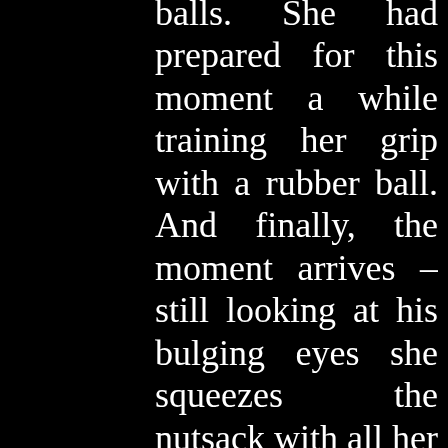balls. She had prepared for this moment a while training her grip with a rubber ball. And finally, the moment arrives – still looking at his bulging eyes she squeezes the nutsack with all her might, reaches to orgasms feeling how the testicles collapse with a wet splash. The rapist powerfully ejaculating